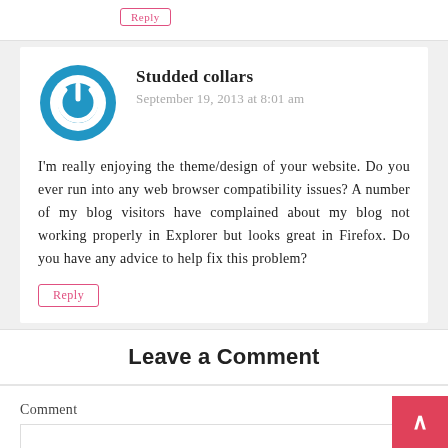Studded collars
September 19, 2013 at 8:01 am
I'm really enjoying the theme/design of your website. Do you ever run into any web browser compatibility issues? A number of my blog visitors have complained about my blog not working properly in Explorer but looks great in Firefox. Do you have any advice to help fix this problem?
Reply
Leave a Comment
Comment